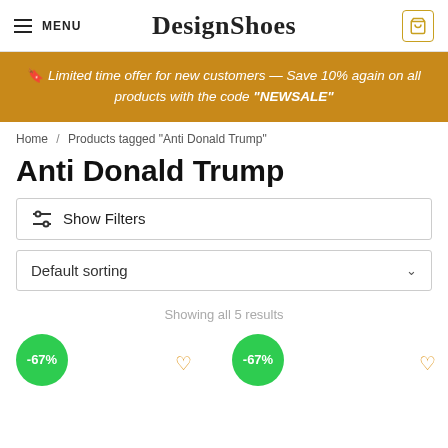MENU | DesignShoes | 0
🔖 Limited time offer for new customers — Save 10% again on all products with the code "NEWSALE"
Home / Products tagged "Anti Donald Trump"
Anti Donald Trump
Show Filters
Default sorting
Showing all 5 results
[Figure (screenshot): Two product discount badges showing -67% each, with heart icons]